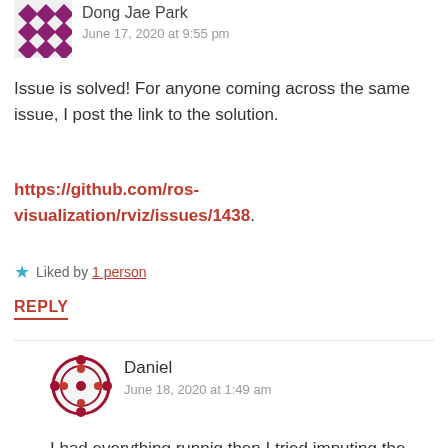[Figure (illustration): Purple diamond/quatrefoil pattern avatar for Dong Jae Park]
Dong Jae Park
June 17, 2020 at 9:55 pm
Issue is solved! For anyone coming across the same issue, I post the link to the solution.
https://github.com/ros-visualization/rviz/issues/1438.
★ Liked by 1 person
REPLY
[Figure (illustration): Red/maroon circular ornamental avatar for Daniel]
Daniel
June 18, 2020 at 1:49 am
I had everything runnig then I tried imputing the command